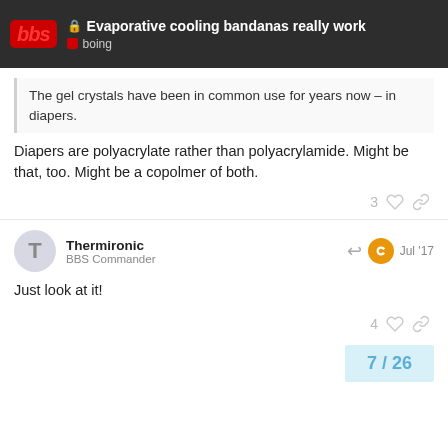Evaporative cooling bandanas really work — boing
The gel crystals have been in common use for years now – in diapers.
Diapers are polyacrylate rather than polyacrylamide. Might be that, too. Might be a copolmer of both.
Thermironic
BBS Commander
Jul '17
Just look at it!
7 / 26